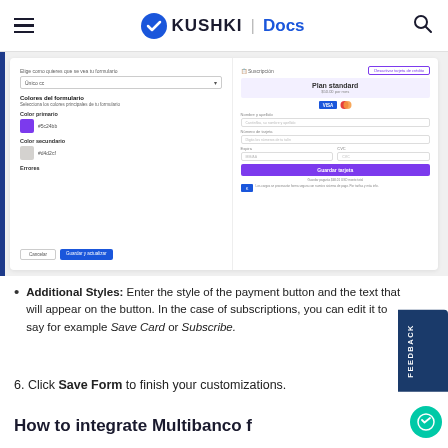KUSHKI | Docs
[Figure (screenshot): Screenshot of Kushki payment form customization panel showing color settings (Color primario: #5c24bb, Color secundario: #d4d2cf) and a payment form preview with Plan standard, card fields, and a purple payment button.]
Additional Styles: Enter the style of the payment button and the text that will appear on the button. In the case of subscriptions, you can edit it to say for example Save Card or Subscribe.
6. Click Save Form to finish your customizations.
How to integrate Multibanco f